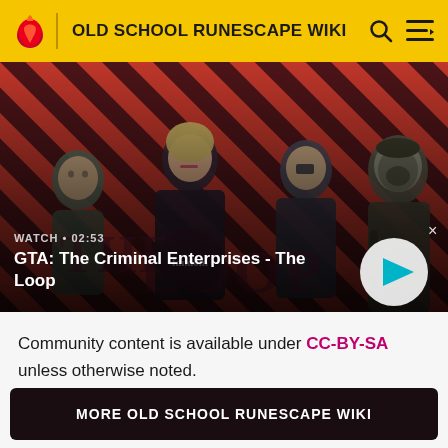OLD SCHOOL RUNESCAPE WIKI
[Figure (screenshot): GTA: The Criminal Enterprises - The Loop promotional video thumbnail showing four characters on a diagonal red and dark stripe background. Text overlay reads WATCH • 02:53 and GTA: The Criminal Enterprises - The Loop with a play button.]
Community content is available under CC-BY-SA unless otherwise noted.
MORE OLD SCHOOL RUNESCAPE WIKI